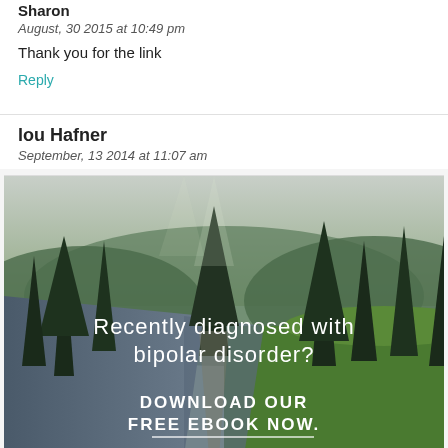Sharon
August, 30 2015 at 10:49 pm
Thank you for the link
Reply
lou Hafner
September, 13 2014 at 11:07 am
[Figure (photo): Outdoor nature scene with forest, river, and mountains. Text overlay reads 'Recently diagnosed with bipolar disorder? DOWNLOAD OUR FREE EBOOK NOW.']
advertisement